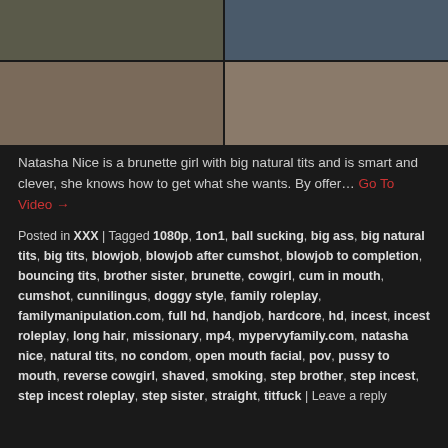[Figure (photo): Grid of four video thumbnail images showing adult content]
Natasha Nice is a brunette girl with big natural tits and is smart and clever, she knows how to get what she wants. By offer.... Go To Video →
Posted in XXX | Tagged 1080p, 1on1, ball sucking, big ass, big natural tits, big tits, blowjob, blowjob after cumshot, blowjob to completion, bouncing tits, brother sister, brunette, cowgirl, cum in mouth, cumshot, cunnilingus, doggy style, family roleplay, familymanipulation.com, full hd, handjob, hardcore, hd, incest, incest roleplay, long hair, missionary, mp4, mypervyfamily.com, natasha nice, natural tits, no condom, open mouth facial, pov, pussy to mouth, reverse cowgirl, shaved, smoking, step brother, step incest, step incest roleplay, step sister, straight, titfuck | Leave a reply